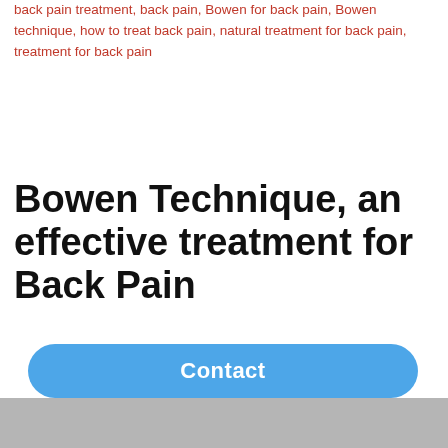back pain treatment, back pain, Bowen for back pain, Bowen technique, how to treat back pain, natural treatment for back pain, treatment for back pain
Bowen Technique, an effective treatment for Back Pain
[Figure (infographic): Word cloud / tag cloud image related to pain and back pain topics, featuring the large green word 'pain' at top, an orange arrow/cross symbol below, and various smaller words including 'may', 'ask', 'help', 'common', 'Osteoarthritis', 'Video', 'low' scattered around]
Contact